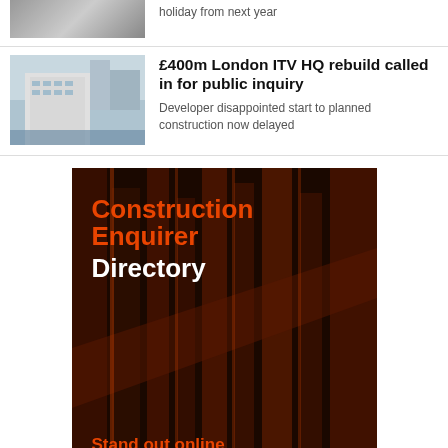…get full pay for 28 days holiday from next year
£400m London ITV HQ rebuild called in for public inquiry
Developer disappointed start to planned construction now delayed
[Figure (photo): Construction Enquirer Directory advertisement banner with orange text on dark background showing architectural columns, with tagline 'Stand out online']